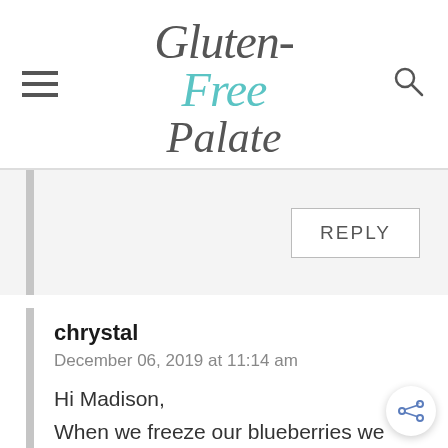[Figure (logo): Gluten-Free Palate website logo in script/cursive font, with 'Free' in teal/cyan color]
REPLY
chrystal
December 06, 2019 at 11:14 am

Hi Madison,
When we freeze our blueberries we freeze them rinsed and patted dry, so they are clean